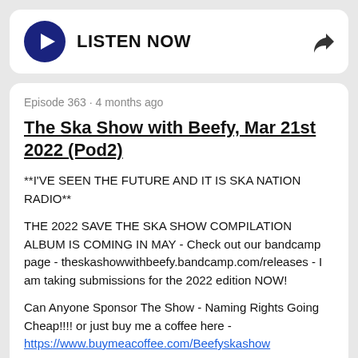[Figure (other): Play button with LISTEN NOW text and share icon]
Episode 363 · 4 months ago
The Ska Show with Beefy, Mar 21st 2022 (Pod2)
**I'VE SEEN THE FUTURE AND IT IS SKA NATION RADIO**
THE 2022 SAVE THE SKA SHOW COMPILATION ALBUM IS COMING IN MAY - Check out our bandcamp page - theskashowwithbeefy.bandcamp.com/releases - I am taking submissions for the 2022 edition NOW!
Can Anyone Sponsor The Show - Naming Rights Going Cheap!!!! or just buy me a coffee here - https://www.buymeacoffee.com/Beefyskashow
[Figure (other): Play button with LISTEN NOW text and share icon at bottom]